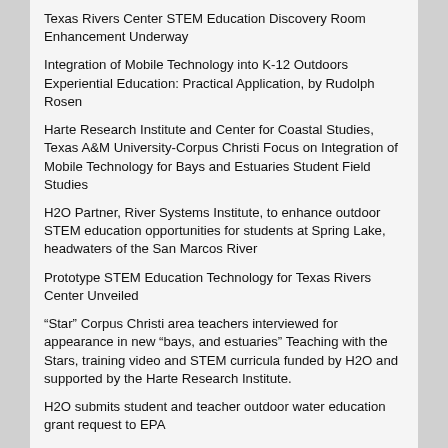Texas Rivers Center STEM Education Discovery Room Enhancement Underway
Integration of Mobile Technology into K-12 Outdoors Experiential Education: Practical Application, by Rudolph Rosen
Harte Research Institute and Center for Coastal Studies, Texas A&M University-Corpus Christi Focus on Integration of Mobile Technology for Bays and Estuaries Student Field Studies
H2O Partner, River Systems Institute, to enhance outdoor STEM education opportunities for students at Spring Lake, headwaters of the San Marcos River
Prototype STEM Education Technology for Texas Rivers Center Unveiled
“Star” Corpus Christi area teachers interviewed for appearance in new “bays, and estuaries” Teaching with the Stars, training video and STEM curricula funded by H2O and supported by the Harte Research Institute.
H2O submits student and teacher outdoor water education grant request to EPA
STEM Water Centers Feature Technology Education Test Bed
Oysters provide backdrop to H2O’s advanced teaching techniques
H2O delivers hands-on STEM water education to teachers
H2O…